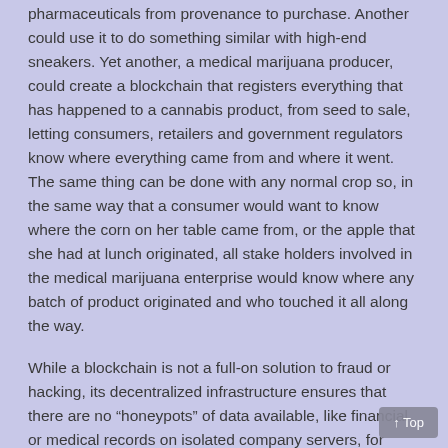pharmaceuticals from provenance to purchase. Another could use it to do something similar with high-end sneakers. Yet another, a medical marijuana producer, could create a blockchain that registers everything that has happened to a cannabis product, from seed to sale, letting consumers, retailers and government regulators know where everything came from and where it went. The same thing can be done with any normal crop so, in the same way that a consumer would want to know where the corn on her table came from, or the apple that she had at lunch originated, all stake holders involved in the medical marijuana enterprise would know where any batch of product originated and who touched it all along the way.
While a blockchain is not a full-on solution to fraud or hacking, its decentralized infrastructure ensures that there are no “honeypots” of data available, like financial or medical records on isolated company servers, for criminals to exploit. Still, touting a bitcoin-derived technology as an answer to cybercrime may seem a stretch considering the high-profile, and lucrative, thefts of cryptocurrency over the past few years. Its estimated that as of March 2015, a full third of  all Bitcoin exchanges, (where people store their bitcoin), to then had been hacked, and nearly half had closed. There was,